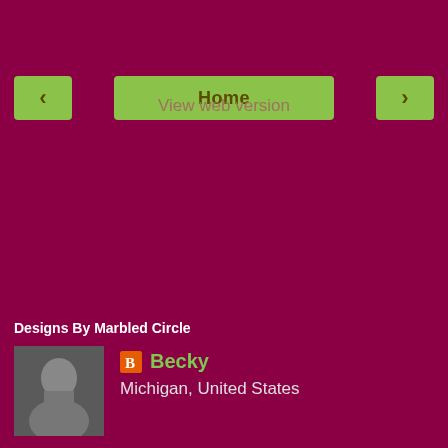[Figure (screenshot): Navigation bar with left arrow button, Home button in center, and right arrow button on dark magenta background]
View web version
Designs By Marbled Circle
[Figure (photo): Profile photo of a woman with short hair]
Becky
Michigan, United States